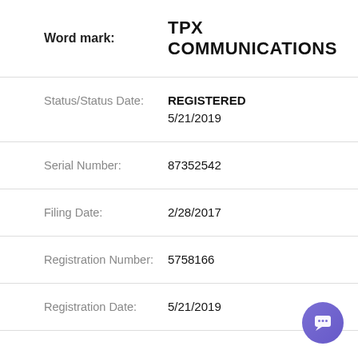Word mark: TPX COMMUNICATIONS
Status/Status Date: REGISTERED 5/21/2019
Serial Number: 87352542
Filing Date: 2/28/2017
Registration Number: 5758166
Registration Date: 5/21/2019